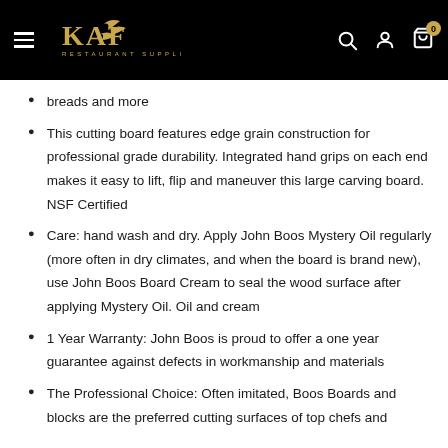KAF Restaurant Supplies
breads and more
This cutting board features edge grain construction for professional grade durability. Integrated hand grips on each end makes it easy to lift, flip and maneuver this large carving board. NSF Certified
Care: hand wash and dry. Apply John Boos Mystery Oil regularly (more often in dry climates, and when the board is brand new), use John Boos Board Cream to seal the wood surface after applying Mystery Oil. Oil and cream
1 Year Warranty: John Boos is proud to offer a one year guarantee against defects in workmanship and materials
The Professional Choice: Often imitated, Boos Boards and blocks are the preferred cutting surfaces of top chefs and